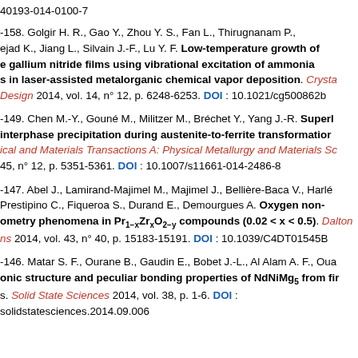40193-014-0100-7
-158. Golgir H. R., Gao Y., Zhou Y. S., Fan L., Thirugnanam P., ejad K., Jiang L., Silvain J.-F., Lu Y. F. Low-temperature growth of e gallium nitride films using vibrational excitation of ammonia s in laser-assisted metalorganic chemical vapor deposition. Crystal Design 2014, vol. 14, n° 12, p. 6248-6253. DOI : 10.1021/cg500862b
-149. Chen M.-Y., Gouné M., Militzer M., Bréchet Y., Yang J.-R. Superl interphase precipitation during austenite-to-ferrite transformation. ical and Materials Transactions A: Physical Metallurgy and Materials Sc. 45, n° 12, p. 5351-5361. DOI : 10.1007/s11661-014-2486-8
-147. Abel J., Lamirand-Majimel M., Majimel J., Bellière-Baca V., Harlé Prestipino C., Fiqueroa S., Durand E., Demourgues A. Oxygen non-ometry phenomena in Pr1-xZrxO2-y compounds (0.02 < x < 0.5). Dalton ns 2014, vol. 43, n° 40, p. 15183-15191. DOI : 10.1039/C4DT01545B
-146. Matar S. F., Ourane B., Gaudin E., Bobet J.-L., Al Alam A. F., Oua onic structure and peculiar bonding properties of NdNiMg5 from fi s. Solid State Sciences 2014, vol. 38, p. 1-6. DOI : solidstatesciences.2014.09.006